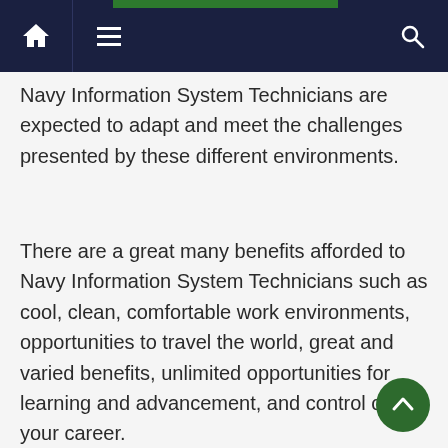Navigation bar with home, menu, and search icons
Navy Information System Technicians are expected to adapt and meet the challenges presented by these different environments.
There are a great many benefits afforded to Navy Information System Technicians such as cool, clean, comfortable work environments, opportunities to travel the world, great and varied benefits, unlimited opportunities for learning and advancement, and control over your career.